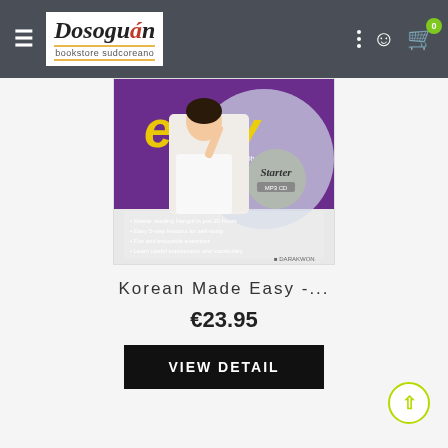Dosoguan bookstore sudcoreano
[Figure (photo): Book cover for 'Korean Made Easy - Starter' showing a smiling Asian woman in white pointing upward, with purple background, yellow 'easy' text, and bullet points listing book features]
Korean Made Easy -...
€23.95
VIEW DETAIL